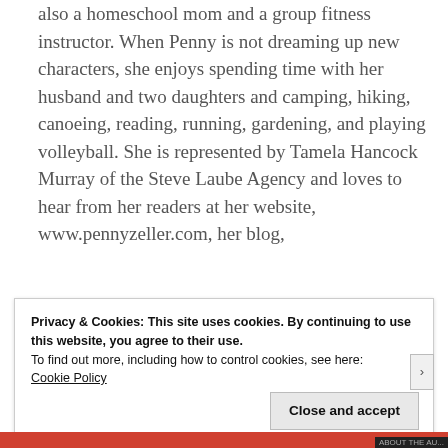also a homeschool mom and a group fitness instructor. When Penny is not dreaming up new characters, she enjoys spending time with her husband and two daughters and camping, hiking, canoeing, reading, running, gardening, and playing volleyball. She is represented by Tamela Hancock Murray of the Steve Laube Agency and loves to hear from her readers at her website, www.pennyzeller.com, her blog,
Privacy & Cookies: This site uses cookies. By continuing to use this website, you agree to their use.
To find out more, including how to control cookies, see here:
Cookie Policy